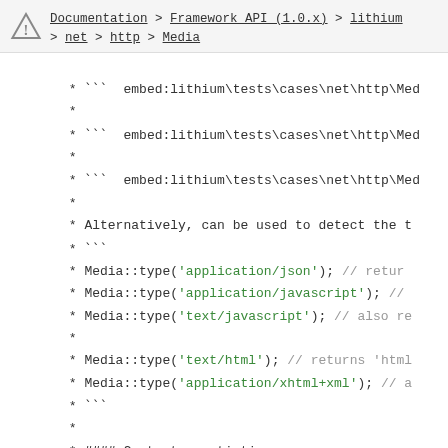Documentation > Framework API (1.0.x) > lithium > net > http > Media
* ``` embed:lithium\tests\cases\net\http\Med
*
* ``` embed:lithium\tests\cases\net\http\Med
*
* ``` embed:lithium\tests\cases\net\http\Med
*
* Alternatively, can be used to detect the t
* ```
* Media::type('application/json'); // retur
* Media::type('application/javascript'); //
* Media::type('text/javascript'); // also re
*
* Media::type('text/html'); // returns 'html
* Media::type('application/xhtml+xml'); // a
* ```
*
* #### Content negotiation
*
* When creating custom media types, specifi